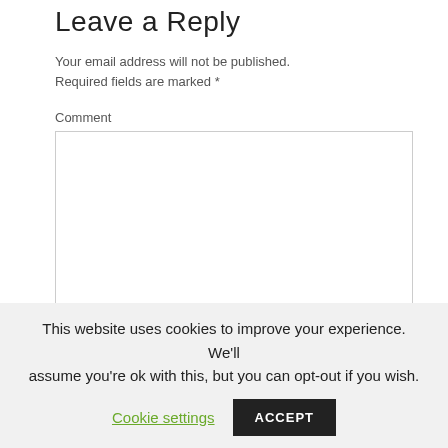Leave a Reply
Your email address will not be published. Required fields are marked *
Comment
This website uses cookies to improve your experience. We'll assume you're ok with this, but you can opt-out if you wish.
Cookie settings | ACCEPT